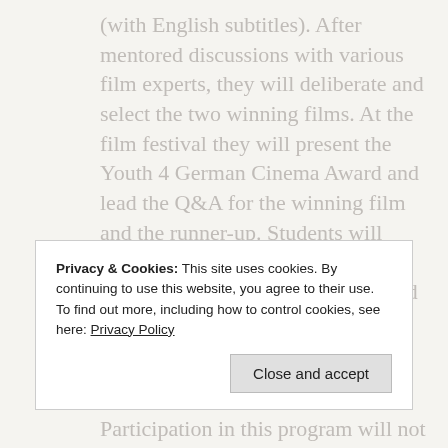(with English subtitles). After mentored discussions with various film experts, they will deliberate and select the two winning films. At the film festival they will present the Youth 4 German Cinema Award and lead the Q&A for the winning film and the runner-up. Students will have exclusive access to the inner workings of the festival, be featured in the official program, receive
Privacy & Cookies: This site uses cookies. By continuing to use this website, you agree to their use. To find out more, including how to control cookies, see here: Privacy Policy
Participation in this program will not